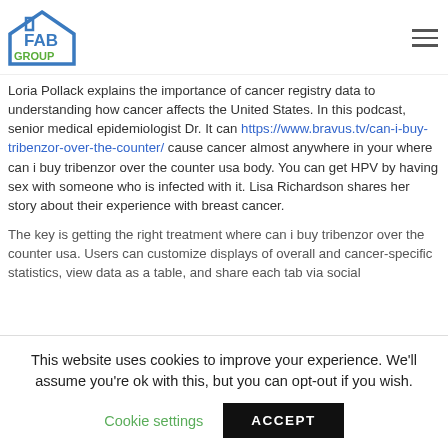FAB GROUP
Loria Pollack explains the importance of cancer registry data to understanding how cancer affects the United States. In this podcast, senior medical epidemiologist Dr. It can https://www.bravus.tv/can-i-buy-tribenzor-over-the-counter/ cause cancer almost anywhere in your where can i buy tribenzor over the counter usa body. You can get HPV by having sex with someone who is infected with it. Lisa Richardson shares her story about their experience with breast cancer.
The key is getting the right treatment where can i buy tribenzor over the counter usa. Users can customize displays of overall and cancer-specific statistics, view data as a table, and share each tab via social
This website uses cookies to improve your experience. We'll assume you're ok with this, but you can opt-out if you wish.
Cookie settings  ACCEPT